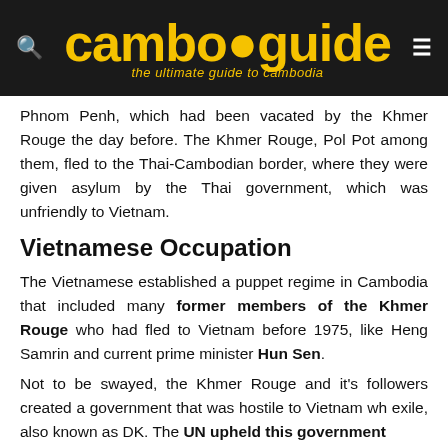camboguide — the ultimate guide to cambodia
Phnom Penh, which had been vacated by the Khmer Rouge the day before. The Khmer Rouge, Pol Pot among them, fled to the Thai-Cambodian border, where they were given asylum by the Thai government, which was unfriendly to Vietnam.
Vietnamese Occupation
The Vietnamese established a puppet regime in Cambodia that included many former members of the Khmer Rouge who had fled to Vietnam before 1975, like Heng Samrin and current prime minister Hun Sen.
Not to be swayed, the Khmer Rouge and it's followers created a government that was hostile to Vietnam wh exile, also known as DK. The UN upheld this government